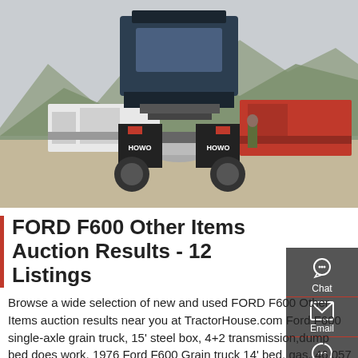[Figure (photo): A large Howo semi-truck/tractor unit viewed from the rear, parked in a yard with multiple other trucks and mountains in the background.]
FORD F600 Other Items Auction Results - 12 Listings
Browse a wide selection of new and used FORD F600 Other Items auction results near you at TractorHouse.com Ford F600 single-axle grain truck, 15' steel box, 4+2 transmission,dump bed does work. 1976 Ford F600 Grain truck 14' bed, gas, 46,057 miles, 4spd, 2sp axle, needs front brakes, runs good